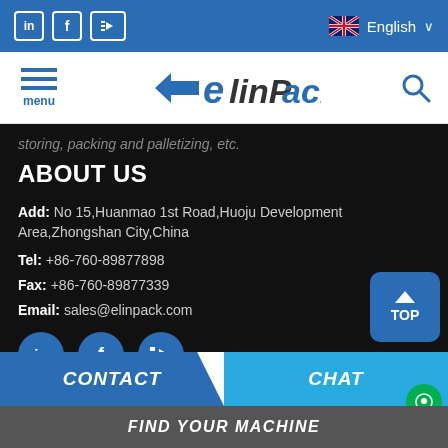in | f | [yt] — English ∨
[Figure (logo): elinPack company logo with arrow icon]
storing, packing and palletizing, etc.
ABOUT US
Add: No 15,Huanmao 1st Road,Huoju Development Area,Zhongshan City,China
Tel: +86-760-89877898
Fax: +86-760-89877339
Email: sales@elinpack.com
[Figure (illustration): Three circular social media icons: LinkedIn, Facebook, YouTube]
CONTACT | CHAT | FIND YOUR MACHINE